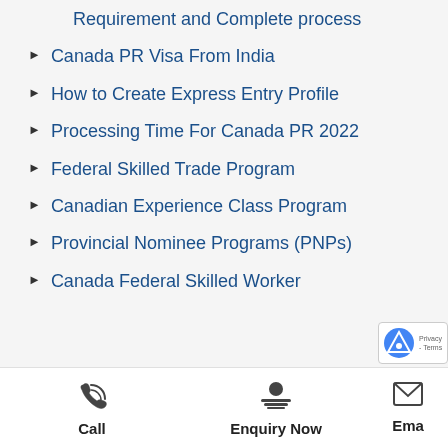Requirement and Complete process
Canada PR Visa From India
How to Create Express Entry Profile
Processing Time For Canada PR 2022
Federal Skilled Trade Program
Canadian Experience Class Program
Provincial Nominee Programs (PNPs)
Canada Federal Skilled Worker
Call   Enquiry Now   Ema…